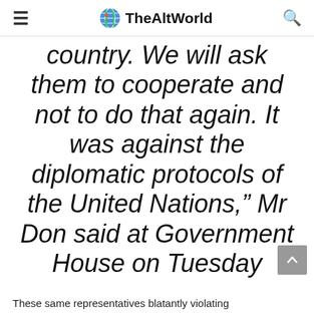TheAltWorld
country. We will ask them to cooperate and not to do that again. It was against the diplomatic protocols of the United Nations,” Mr Don said at Government House on Tuesday
These same representatives blatantly violating